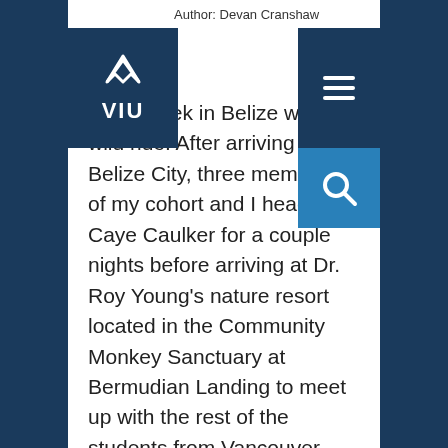Author: Devan Cranshaw
[Figure (logo): VIU (Vancouver Island University) logo with white bird/wave icon and VIU text on dark navy background]
[Figure (other): Hamburger menu icon (three horizontal white lines) on dark navy background]
[Figure (other): Search/magnifying glass icon on blue background]
My first week in Belize was a wild ride! After arriving in Belize City, three members of my cohort and I headed to Caye Caulker for a couple nights before arriving at Dr. Roy Young's nature resort located in the Community Monkey Sanctuary at Bermudian Landing to meet up with the rest of the students from Vancouver Island University. On Caye Caulker we had the joy of experiencing the famous Belizean Caye as well as Belizean hospitality. Both were fantastic! The experience of living in the Caribbean while being immersed amongst the interplay of the growing